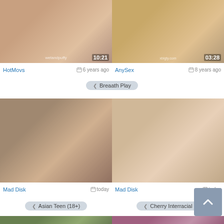[Figure (photo): Video thumbnail top left with timestamp 10:21]
[Figure (photo): Video thumbnail top right with timestamp 03:28]
HotMovs   6 years ago
AnySex   8 years ago
Breaath Play
[Figure (photo): Video thumbnail middle left, today]
[Figure (photo): Video thumbnail middle right, today]
Mad Disk   today
Mad Disk   today
Asian Teen (18+)
Cherry Interracial
[Figure (photo): Video thumbnail bottom left, partial]
[Figure (photo): Video thumbnail bottom right, partial]